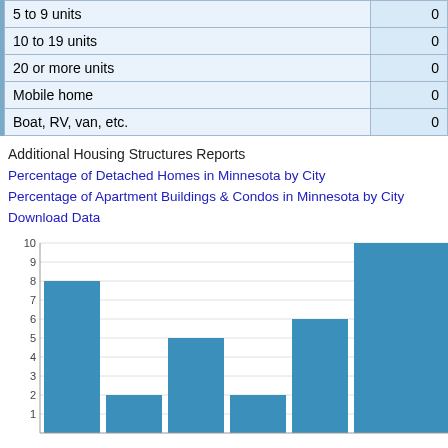|  |  |
| --- | --- |
| 5 to 9 units | 0 |
| 10 to 19 units | 0 |
| 20 or more units | 0 |
| Mobile home | 0 |
| Boat, RV, van, etc. | 0 |
Additional Housing Structures Reports
Percentage of Detached Homes in Minnesota by City
Percentage of Apartment Buildings & Condos in Minnesota by City
Download Data
Birchdale Rooms
[Figure (bar-chart): Birchdale Rooms]